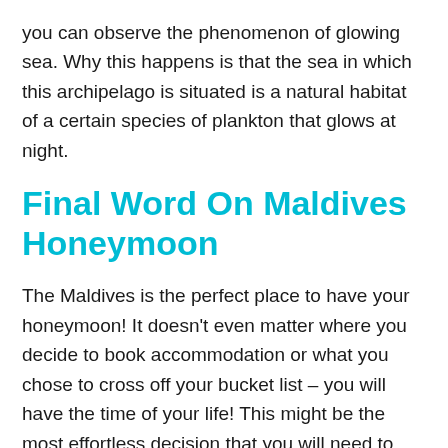you can observe the phenomenon of glowing sea. Why this happens is that the sea in which this archipelago is situated is a natural habitat of a certain species of plankton that glows at night.
Final Word On Maldives Honeymoon
The Maldives is the perfect place to have your honeymoon! It doesn't even matter where you decide to book accommodation or what you chose to cross off your bucket list – you will have the time of your life! This might be the most effortless decision that you will need to take while you plan your wedding.
And the best thing about the Maldives is that, even though they do have some extravagant resorts, you won't have to spend too